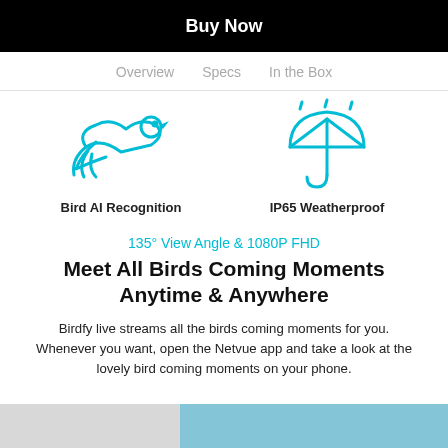Buy Now
Overview  Specs  In the Box
[Figure (illustration): Cyan line-art icon of a bird in flight (left side)]
Bird AI Recognition
[Figure (illustration): Cyan line-art icon of an umbrella with rain drops (right side) — IP65 Weatherproof]
IP65 Weatherproof
135° View Angle & 1080P FHD
Meet All Birds Coming Moments Anytime & Anywhere
Birdfy live streams all the birds coming moments for you. Whenever you want, open the Netvue app and take a look at the lovely bird coming moments on your phone.